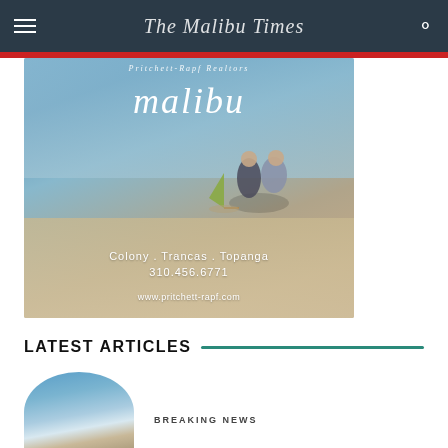The Malibu Times
[Figure (photo): Advertisement for Pritchett-Rapf Realtors Malibu showing two figures on a beach with a small sailboat, text reads: Pritchett-Rapf Realtors, malibu, Colony . Trancas . Topanga, 310.456.6771, www.pritchett-rapf.com]
LATEST ARTICLES
[Figure (photo): Circular thumbnail image of a coastal landscape]
BREAKING NEWS